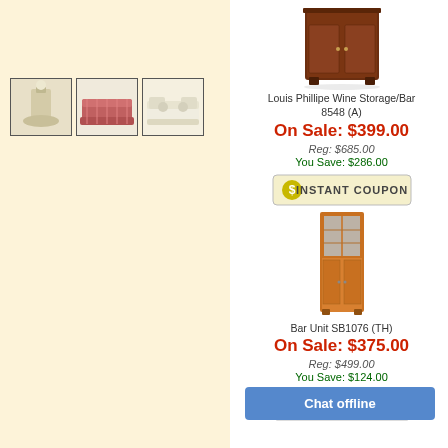[Figure (photo): Thumbnail image of a white lamp or pedestal]
[Figure (photo): Thumbnail image of a patterned sofa/loveseat]
[Figure (photo): Thumbnail image of a white sofa with pillows]
[Figure (photo): Louis Phillipe Wine Storage/Bar product image]
Louis Phillipe Wine Storage/Bar
8548 (A)
On Sale: $399.00
Reg: $685.00
You Save: $286.00
[Figure (other): Instant Coupon button]
Fold... On...
[Figure (photo): Bar Unit SB1076 (TH) product image - tall narrow bar cabinet in cherry/orange finish]
Bar Unit SB1076 (TH)
On Sale: $375.00
Reg: $499.00
You Save: $124.00
[Figure (other): Instant Coupon button]
Mahag... On...
Chat offline